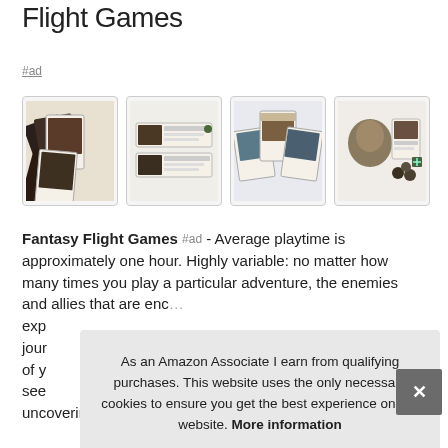Flight Games
#ad
[Figure (photo): Four thumbnail images of Fantasy Flight Games card game products showing fantasy/sci-fi card sets]
Fantasy Flight Games #ad - Average playtime is approximately one hour. Highly variable: no matter how many times you play a particular adventure, the enemies and allies that are enc... expe... jour... of y... see... uncovering forgotten lore and more.
As an Amazon Associate I earn from qualifying purchases. This website uses the only necessary cookies to ensure you get the best experience on our website. More information